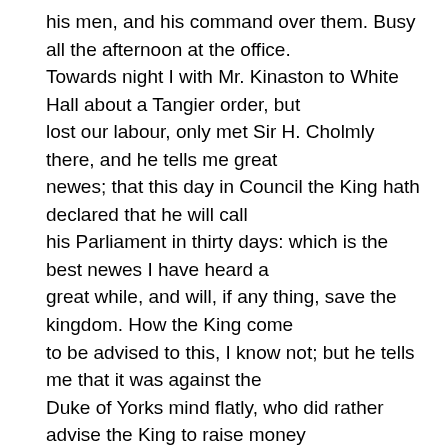his men, and his command over them. Busy all the afternoon at the office. Towards night I with Mr. Kinaston to White Hall about a Tangier order, but lost our labour, only met Sir H. Cholmly there, and he tells me great newes; that this day in Council the King hath declared that he will call his Parliament in thirty days: which is the best newes I have heard a great while, and will, if any thing, save the kingdom. How the King come to be advised to this, I know not; but he tells me that it was against the Duke of Yorks mind flatly, who did rather advise the King to raise money as he pleased; and against the Chancellors, who told the King that Queen Elizabeth did do all her business in eighty-eight without calling a